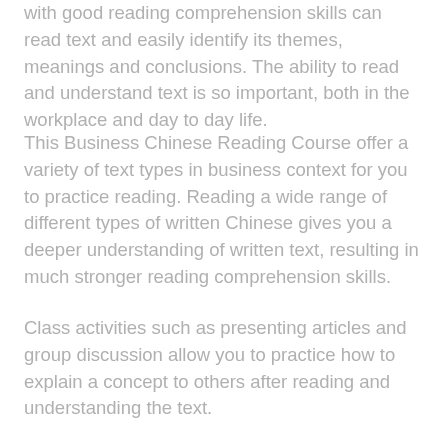with good reading comprehension skills can read text and easily identify its themes, meanings and conclusions. The ability to read and understand text is so important, both in the workplace and day to day life.
This Business Chinese Reading Course offer a variety of text types in business context for you to practice reading. Reading a wide range of different types of written Chinese gives you a deeper understanding of written text, resulting in much stronger reading comprehension skills.
Class activities such as presenting articles and group discussion allow you to practice how to explain a concept to others after reading and understanding the text.